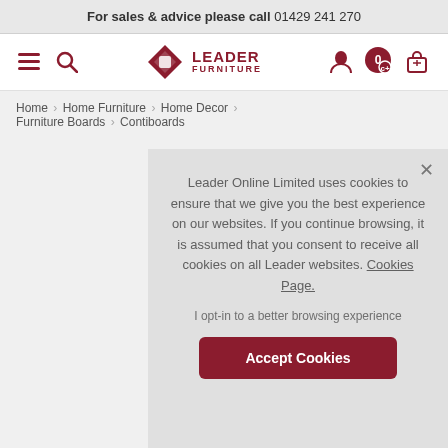For sales & advice please call 01429 241 270
[Figure (logo): Leader Furniture logo with navigation icons (hamburger menu, search, account, wishlist, basket)]
Home > Home Furniture > Home Decor > Furniture Boards > Contiboards
Leader Online Limited uses cookies to ensure that we give you the best experience on our websites. If you continue browsing, it is assumed that you consent to receive all cookies on all Leader websites. Cookies Page.
I opt-in to a better browsing experience
Accept Cookies